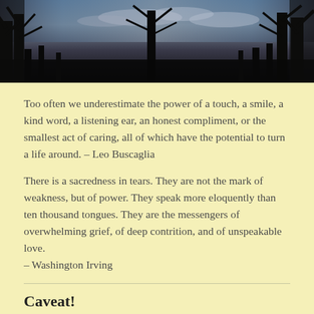[Figure (photo): Dark silhouette of bare trees against a twilight sky with clouds, panoramic banner image at top of blog page]
Too often we underestimate the power of a touch, a smile, a kind word, a listening ear, an honest compliment, or the smallest act of caring, all of which have the potential to turn a life around. – Leo Buscaglia
There is a sacredness in tears. They are not the mark of weakness, but of power. They speak more eloquently than ten thousand tongues. They are the messengers of overwhelming grief, of deep contrition, and of unspeakable love.
– Washington Irving
Caveat!
This blog is written about grief from one woman's perspective - mine. It